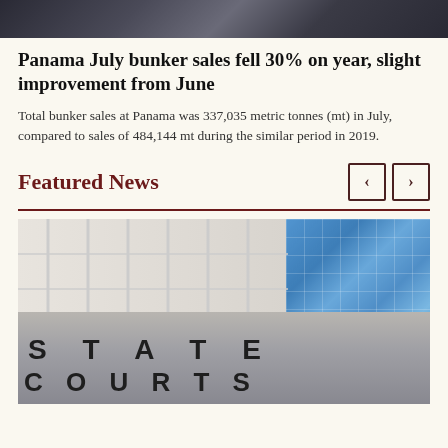[Figure (photo): Top portion of a dark image, partially cropped, showing a shadowy scene (continuation of an article image from above).]
Panama July bunker sales fell 30% on year, slight improvement from June
Total bunker sales at Panama was 337,035 metric tonnes (mt) in July, compared to sales of 484,144 mt during the similar period in 2019.
Featured News
[Figure (photo): Photo of the State Courts building exterior, showing the large letters 'STATE COURTS' on the facade, with a glass-paneled modern building in the background.]